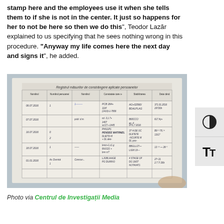stamp here and the employees use it when she tells them to if she is not in the center. It just so happens for her to not be here so then we do this", Teodor Lazăr explained to us specifying that he sees nothing wrong in this procedure. "Anyway my life comes here the next day and signs it", he added.
[Figure (photo): A photograph of a handwritten register/logbook page showing a table titled 'Registrul măsurilor de constrângere aplicate persoanelor' with multiple columns and rows of handwritten entries in Romanian, dates visible including 06.07.2016, 07.07.2016, 16.07.2016, 18.07.2016, 01.01.2016]
Photo via Centrul de Investigații Media